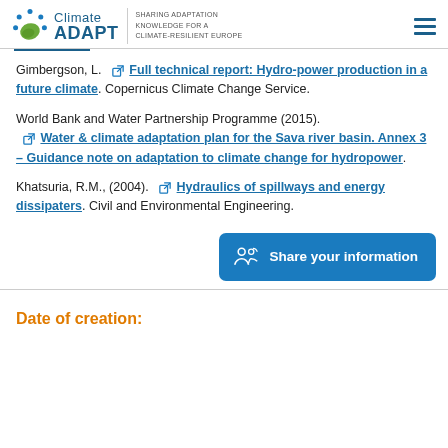Climate ADAPT — SHARING ADAPTATION KNOWLEDGE FOR A CLIMATE-RESILIENT EUROPE
Gimbergson, L. Full technical report: Hydro-power production in a future climate. Copernicus Climate Change Service.
World Bank and Water Partnership Programme (2015). Water & climate adaptation plan for the Sava river basin. Annex 3 – Guidance note on adaptation to climate change for hydropower.
Khatsuria, R.M., (2004). Hydraulics of spillways and energy dissipaters. Civil and Environmental Engineering.
Share your information
Date of creation: